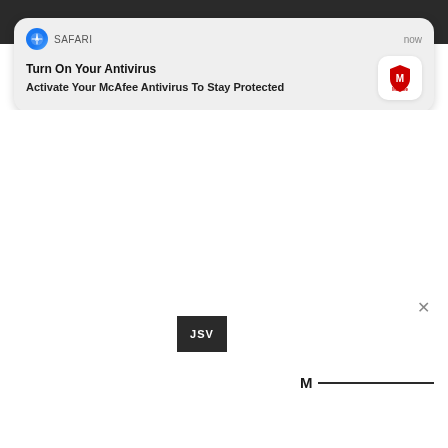[Figure (screenshot): A Safari browser push notification overlay on a mobile screen. The notification card reads 'Turn On Your Antivirus' with subtitle 'Activate Your McAfee Antivirus To Stay Protected', showing a McAfee logo icon. Below the card is a dark background with a JSV label box and partial McAfee logo with a horizontal line.]